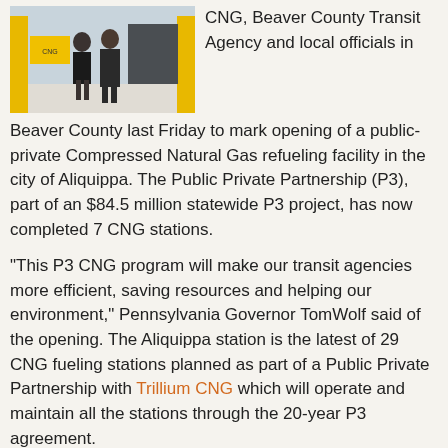[Figure (photo): Two people standing in front of a CNG refueling station with yellow pillars.]
CNG, Beaver County Transit Agency and local officials in Beaver County last Friday to mark opening of a public-private Compressed Natural Gas refueling facility in the city of Aliquippa. The Public Private Partnership (P3), part of an $84.5 million statewide P3 project, has now completed 7 CNG stations.
“This P3 CNG program will make our transit agencies more efficient, saving resources and helping our environment,” Pennsylvania Governor TomWolf said of the opening. The Aliquippa station is the latest of 29 CNG fueling stations planned as part of a Public Private Partnership with Trillium CNG which will operate and maintain all the stations through the 20-year P3 agreement.
Other stations will be constructed over the next five years, and Trillium is also making CNG-related upgrades to existing transit maintenance facilities.